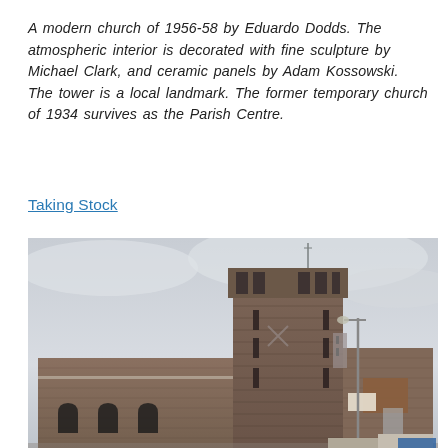A modern church of 1956-58 by Eduardo Dodds. The atmospheric interior is decorated with fine sculpture by Michael Clark, and ceramic panels by Adam Kossowski. The tower is a local landmark. The former temporary church of 1934 survives as the Parish Centre.
Taking Stock
[Figure (photo): Exterior photograph of a modern brick church with a tall square tower, taken from street level against an overcast sky. The tower has louvred openings near the top and a flat roof extension. The main body of the church is low and wide with arched windows. A street lamp is visible in the foreground.]